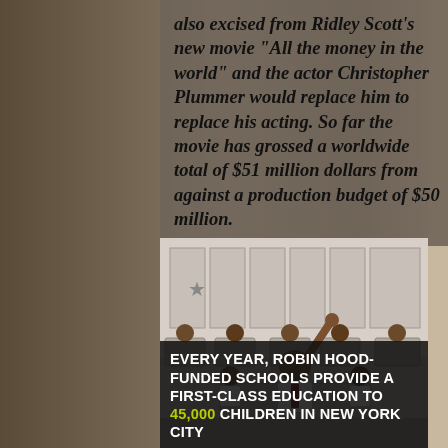also excised from Ridley Scott's new movie "All the money in the world" and the actor Christopher Plummer would replace him to replace his acting. So far the movie has grossed a worldwide total of $51 million dollars from against a production budget of $50 million.
[Figure (photo): Classroom scene showing students raising hands, black and white style]
EVERY YEAR, ROBIN HOOD-FUNDED SCHOOLS PROVIDE A FIRST-CLASS EDUCATION TO 45,000 CHILDREN IN NEW YORK CITY